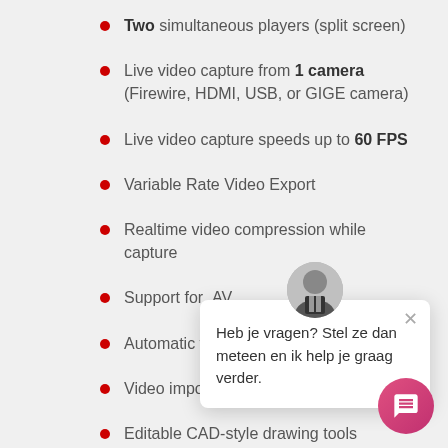Two simultaneous players (split screen)
Live video capture from 1 camera (Firewire, HDMI, USB, or GIGE camera)
Live video capture speeds up to 60 FPS
Variable Rate Video Export
Realtime video compression while capture
Support for .AV…
Automatic vide…
Video import from USB memory sticks
Editable CAD-style drawing tools
Heb je vragen? Stel ze dan meteen en ik help je graag verder.